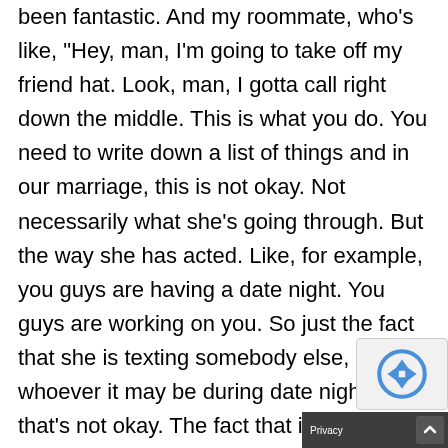been fantastic. And my roommate, who's like, "Hey, man, I'm going to take off my friend hat. Look, man, I gotta call right down the middle. This is what you do. You need to write down a list of things and in our marriage, this is not okay. Not necessarily what she's going through. But the way she has acted. Like, for example, you guys are having a date night. You guys are working on you. So just the fact that she is texting somebody else, whoever it may be during date night, that's not okay. The fact that it's someone she's interested in, not okay, for a marriage." You know, you hear things from like a counsellor or a therapist, it's like, you know, they call it very down the middle. And they kind of have like that outsider looking in kind of thing, which is very cool to hear. And he goes, "Let's talk to her too." So, I speak to her about it. I do write